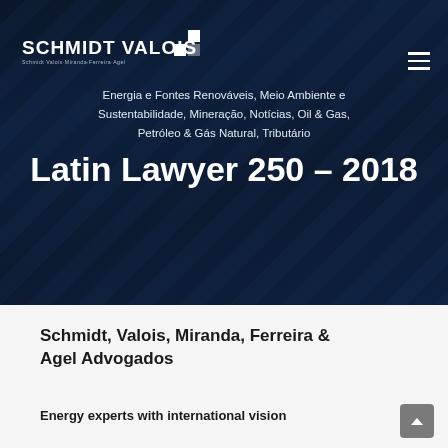[Figure (logo): Schmidt Valois logo with white squares icon and firm name in white text on dark navy background]
Energia e Fontes Renováveis, Meio Ambiente e Sustentabilidade, Mineração, Notícias, Oil & Gas, Petróleo & Gás Natural, Tributário
Latin Lawyer 250 – 2018
Schmidt, Valois, Miranda, Ferreira & Agel Advogados
Energy experts with international vision